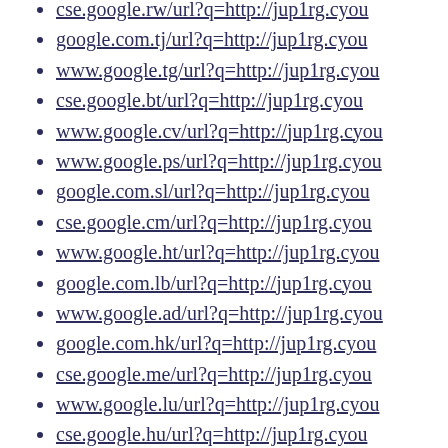cse.google.rw/url?q=http://jup1rg.cyou
google.com.tj/url?q=http://jup1rg.cyou
www.google.tg/url?q=http://jup1rg.cyou
cse.google.bt/url?q=http://jup1rg.cyou
www.google.cv/url?q=http://jup1rg.cyou
www.google.ps/url?q=http://jup1rg.cyou
google.com.sl/url?q=http://jup1rg.cyou
cse.google.cm/url?q=http://jup1rg.cyou
www.google.ht/url?q=http://jup1rg.cyou
google.com.lb/url?q=http://jup1rg.cyou
www.google.ad/url?q=http://jup1rg.cyou
google.com.hk/url?q=http://jup1rg.cyou
cse.google.me/url?q=http://jup1rg.cyou
www.google.lu/url?q=http://jup1rg.cyou
cse.google.hu/url?q=http://jup1rg.cyou
cse.google.bg/url?q=http://jup1rg.cyou
google.com.vn/url?q=http://jup1rg.cyou
cse.google.kg/url?q=http://jup1rg.cyou
google.com.mx/url?q=http://jup1rg.cyou